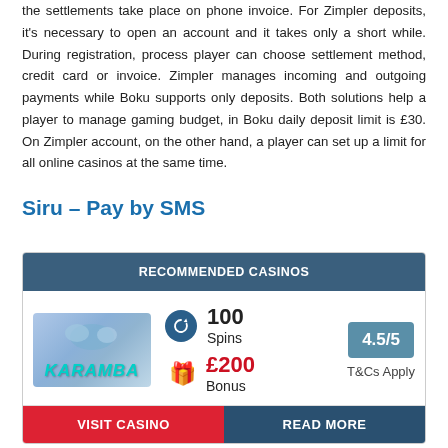the settlements take place on phone invoice. For Zimpler deposits, it's necessary to open an account and it takes only a short while. During registration, process player can choose settlement method, credit card or invoice. Zimpler manages incoming and outgoing payments while Boku supports only deposits. Both solutions help a player to manage gaming budget, in Boku daily deposit limit is £30. On Zimpler account, on the other hand, a player can set up a limit for all online casinos at the same time.
Siru – Pay by SMS
| Casino | Offer | Rating | T&Cs |
| --- | --- | --- | --- |
| Karamba | 100 Spins / £200 Bonus | 4.5/5 | T&Cs Apply |